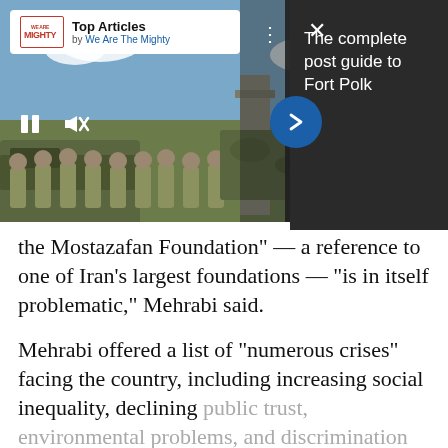[Figure (screenshot): Mobile web page screenshot showing a video player overlay with 'Top Articles by We Are The Mighty' card, military personnel standing in front of a military vehicle, video controls (pause, mute), navigation arrow, and a dark right panel with text 'The complete post guide to Fort Polk']
the Mostazafan Foundation" — a reference to one of Iran's largest foundations — "is in itself problematic," Mehrabi said.
Mehrabi offered a list of "numerous crises" facing the country, including increasing social inequality, declining public trust, environmental problems, and discrimination against minorities.